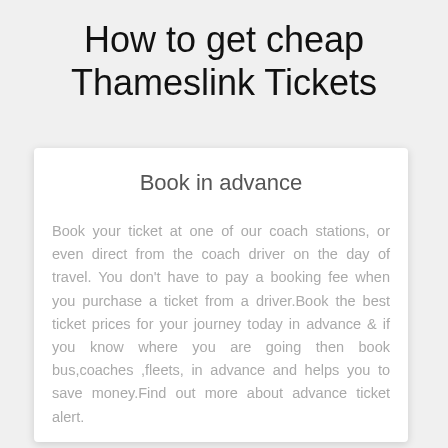How to get cheap Thameslink Tickets
Book in advance
Book your ticket at one of our coach stations, or even direct from the coach driver on the day of travel. You don't have to pay a booking fee when you purchase a ticket from a driver.Book the best ticket prices for your journey today in advance & if you know where you are going then book bus,coaches ,fleets, in advance and helps you to save money.Find out more about advance ticket alert.